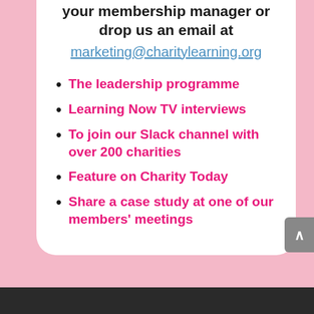your membership manager or drop us an email at
marketing@charitylearning.org
The leadership programme
Learning Now TV interviews
To join our Slack channel with over 200 charities
Feature on Charity Today
Share a case study at one of our members' meetings